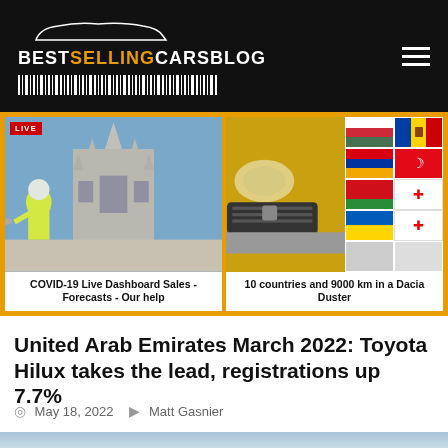BESTSELLINGCARSBLOG
[Figure (photo): Featured card 1: Worker in hazmat suit spraying disinfectant in front of Milan Cathedral. LIVE badge overlay. Caption: COVID-19 Live Dashboard Sales - Forecasts - Our help]
[Figure (photo): Featured card 2: Yellow Dacia Duster next to a colorful grid of European country flags. Caption: 10 countries and 9000 km in a Dacia Duster]
United Arab Emirates March 2022: Toyota Hilux takes the lead, registrations up 7.7%
May 18, 2022   Matt Gasnier
[Figure (photo): Bottom preview of article image (partial, light blue/grey)]